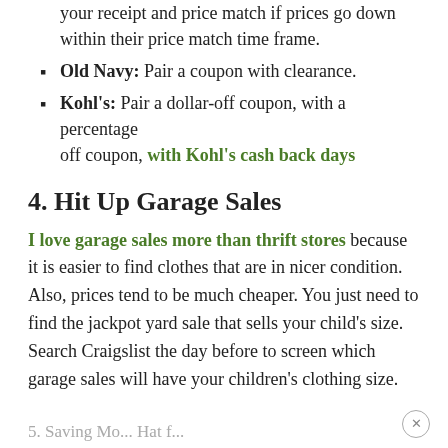your receipt and price match if prices go down within their price match time frame.
Old Navy: Pair a coupon with clearance.
Kohl's: Pair a dollar-off coupon, with a percentage off coupon, with Kohl's cash back days
4. Hit Up Garage Sales
I love garage sales more than thrift stores because it is easier to find clothes that are in nicer condition. Also, prices tend to be much cheaper. You just need to find the jackpot yard sale that sells your child's size. Search Craigslist the day before to screen which garage sales will have your children's clothing size.
5. Saving Mo... Hat f...